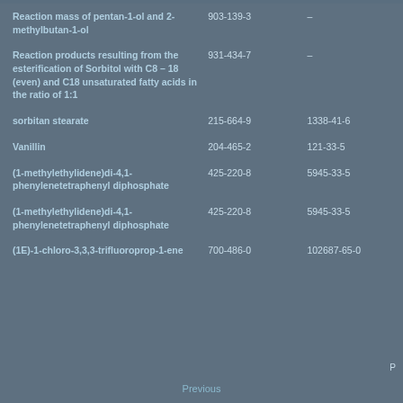| Name | EC No. | CAS No. |
| --- | --- | --- |
| Reaction mass of pentan-1-ol and 2-methylbutan-1-ol | 903-139-3 | – |
| Reaction products resulting from the esterification of Sorbitol with C8 – 18 (even) and C18 unsaturated fatty acids in the ratio of 1:1 | 931-434-7 | – |
| sorbitan stearate | 215-664-9 | 1338-41-6 |
| Vanillin | 204-465-2 | 121-33-5 |
| (1-methylethylidene)di-4,1-phenylenetetraphenyl diphosphate | 425-220-8 | 5945-33-5 |
| (1-methylethylidene)di-4,1-phenylenetetraphenyl diphosphate | 425-220-8 | 5945-33-5 |
| (1E)-1-chloro-3,3,3-trifluoroprop-1-ene | 700-486-0 | 102687-65-0 |
P
Previous